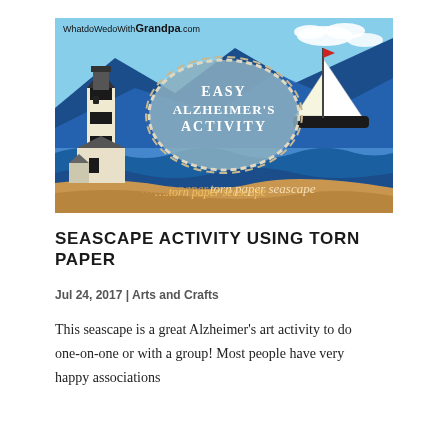[Figure (illustration): Decorative banner image for a blog post about an Easy Alzheimer's Activity - torn paper seascape. Shows a lighthouse on the left, a sailboat on the right, blue ocean and mountains in the background, with text 'EASY ALZHEIMER'S ACTIVITY' in an oval rope border in the center, '...torn paper seascape' in cursive at the bottom right, and 'WhatdoWedoWithGrandpa.com' in the top left corner.]
SEASCAPE ACTIVITY USING TORN PAPER
Jul 24, 2017 | Arts and Crafts
This seascape is a great Alzheimer's art activity to do one-on-one or with a group! Most people have very happy associations